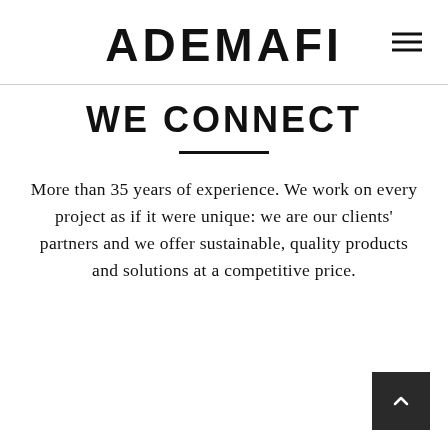ADEMAFI
WE CONNECT
More than 35 years of experience. We work on every project as if it were unique: we are our clients' partners and we offer sustainable, quality products and solutions at a competitive price.